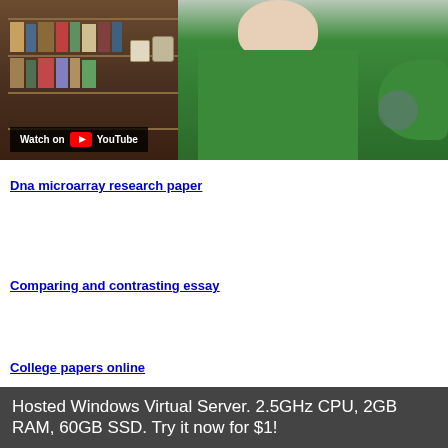[Figure (screenshot): YouTube video thumbnail showing a person in a green shirt with bookshelves in the background, with a 'Watch on YouTube' overlay badge at the bottom left.]
Dna microarray research paper
Comparing and contrasting essay
College papers online
Hosted Windows Virtual Server. 2.5GHz CPU, 2GB RAM, 60GB SSD. Try it now for $1!